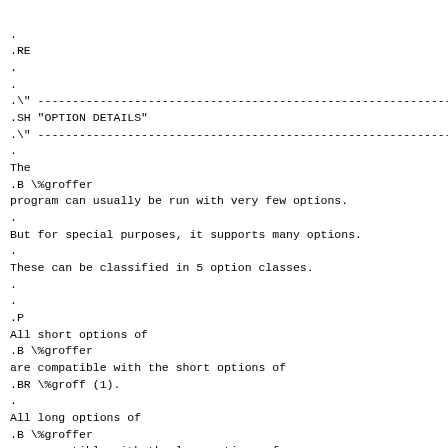.
.RE
.
.
.\" ------------------------------------------------------------------
.SH "OPTION DETAILS"
.\" ------------------------------------------------------------------
.
The
.B \%groffer
program can usually be run with very few options.
.
But for special purposes, it supports many options.
.
These can be classified in 5 option classes.
.
.
.P
All short options of
.B \%groffer
are compatible with the short options of
.BR \%groff (1).
.
All long options of
.B \%groffer
are compatible with the long options of
.BR \%man (1).
.